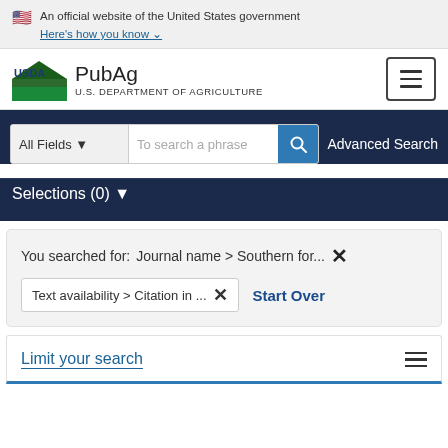An official website of the United States government Here's how you know
[Figure (logo): USDA PubAg - U.S. Department of Agriculture logo and site header with hamburger menu]
All Fields  To search a phrase  Advanced Search
Selections (0)
You searched for:  Journal name > Southern for...  ×  Text availability > Citation in ...  ×  Start Over
Limit your search